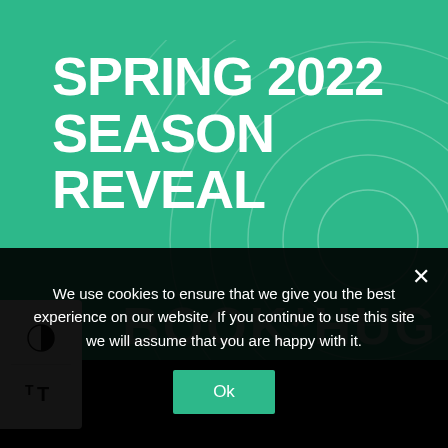[Figure (illustration): Green background promotional banner for Book*Hug Spring 2022 Season Reveal, featuring concentric circles design element and large white bold text.]
SPRING 2022 SEASON REVEAL
BOOK*HUG
We use cookies to ensure that we give you the best experience on our website. If you continue to use this site we will assume that you are happy with it.